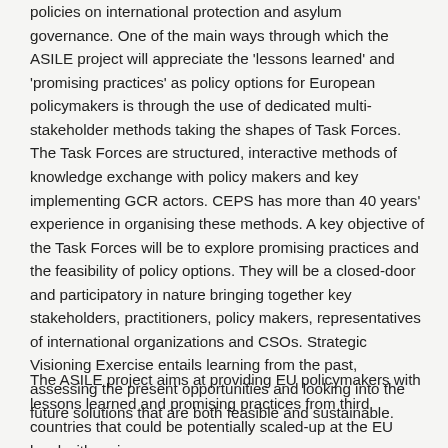policies on international protection and asylum governance. One of the main ways through which the ASILE project will appreciate the 'lessons learned' and 'promising practices' as policy options for European policymakers is through the use of dedicated multi-stakeholder methods taking the shapes of Task Forces. The Task Forces are structured, interactive methods of knowledge exchange with policy makers and key implementing GCR actors. CEPS has more than 40 years' experience in organising these methods. A key objective of the Task Forces will be to explore promising practices and the feasibility of policy options. They will be a closed-door and participatory in nature bringing together key stakeholders, practitioners, policy makers, representatives of international organizations and CSOs. Strategic Visioning Exercise entails learning from the past, assessing the present opportunities and looking into the future solutions that are both feasible and sustainable.
The ASILE project aims at providing EU policymakers with lessons learned and promising practices from third countries that could be potentially scaled-up at the EU level with a view